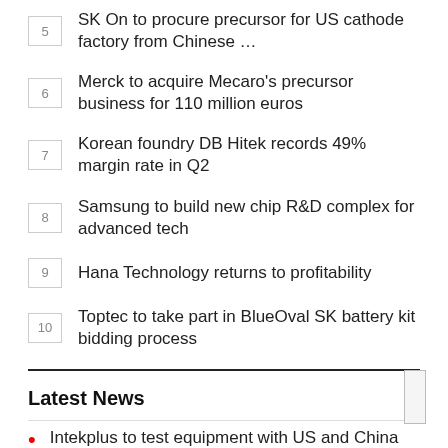5 SK On to procure precursor for US cathode factory from Chinese …
6 Merck to acquire Mecaro's precursor business for 110 million euros
7 Korean foundry DB Hitek records 49% margin rate in Q2
8 Samsung to build new chip R&D complex for advanced tech
9 Hana Technology returns to profitability
10 Toptec to take part in BlueOval SK battery kit bidding process
Latest News
Intekplus to test equipment with US and China OSAT firms
[Figure (photo): Building exterior of Intekplus facility with cars in foreground]